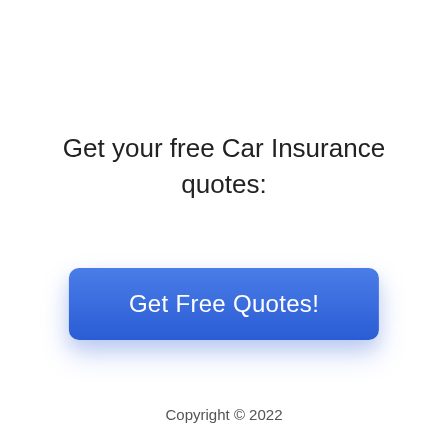Get your free Car Insurance quotes:
[Figure (other): A blue gradient call-to-action button with white text reading 'Get Free Quotes!' and a soft drop shadow beneath it.]
Copyright © 2022